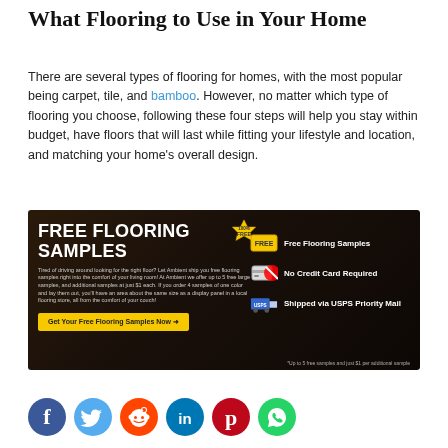What Flooring to Use in Your Home
There are several types of flooring for homes, with the most popular being carpet, tile, and bamboo. However, no matter which type of flooring you choose, following these four steps will help you stay within budget, have floors that will last while fitting your lifestyle and location, and matching your home’s overall design.
[Figure (infographic): Dark wood-themed advertisement for free flooring samples. Left side shows 'FREE FLOORING SAMPLES' header with body text and a yellow CTA button 'Get Your Free Flooring Samples Now'. Right side shows three feature icons: Free Flooring Samples (gold badge), No Credit Card Required (credit card with no symbol), Shipped via USPS Priority Mail (USPS truck). Footnote: *Up to 5 free samples and just $1 per additional sample.]
[Figure (infographic): Row of six social media share icons: Facebook (blue circle with f), Twitter (light blue circle with bird), Reddit (orange circle with alien), LinkedIn (teal circle with in), Pinterest (red circle with P), WhatsApp (green circle with phone handset).]